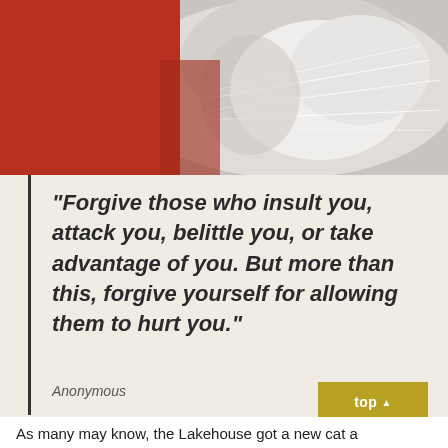[Figure (photo): Close-up photo of a cat's face/whiskers area against a red background, showing grey and white fur with long whiskers]
“Forgive those who insult you, attack you, belittle you, or take advantage of you. But more than this, forgive yourself for allowing them to hurt you.”
Anonymous
top ▲
As many may know, the Lakehouse got a new cat a